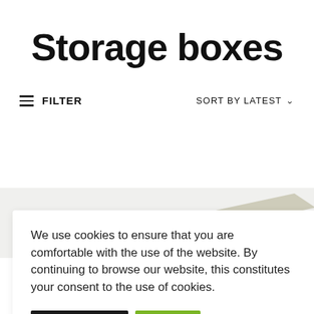Storage boxes
≡  FILTER    SORT BY LATEST ∨
[Figure (photo): Partial view of a storage box product image on a light grey background]
We use cookies to ensure that you are comfortable with the use of the website. By continuing to browse our website, this constitutes your consent to the use of cookies.
Privacy policy   Agree